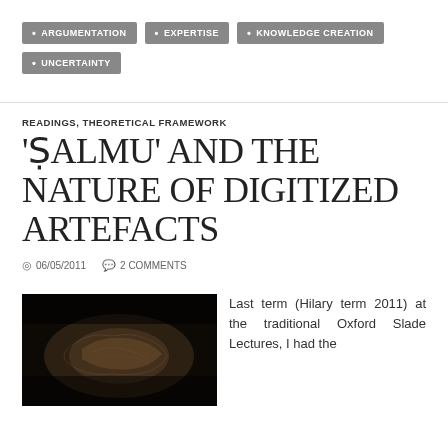ARGUMENTATION
EXPERTISE
KNOWLEDGE CREATION
UNCERTAINTY
READINGS, THEORETICAL FRAMEWORK
'ṢALMU' AND THE NATURE OF DIGITIZED ARTEFACTS
06/05/2011   2 COMMENTS
[Figure (photo): Dark photograph of an ancient stone artefact or relief carving, showing textured surface details in low light]
Last term (Hilary term 2011) at the traditional Oxford Slade Lectures, I had the